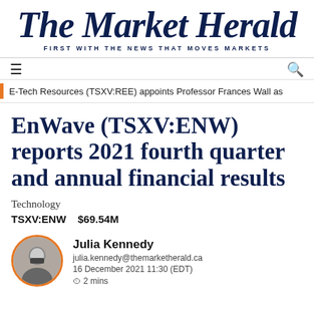The Market Herald
FIRST WITH THE NEWS THAT MOVES MARKETS
E-Tech Resources (TSXV:REE) appoints Professor Frances Wall as
EnWave (TSXV:ENW) reports 2021 fourth quarter and annual financial results
Technology
TSXV:ENW   $69.54M
Julia Kennedy
julia.kennedy@themarketherald.ca
16 December 2021 11:30 (EDT)
2 mins